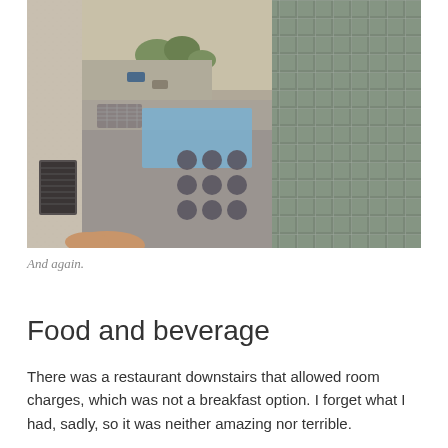[Figure (photo): Aerial/high-angle view from a hotel window looking down at city buildings. On the left is a beige concrete wall and a dark air conditioning unit or similar fixture. In the center is a lower building with rooftop HVAC equipment and a decorative pattern on the roof. To the right is a tall glass-curtain-wall office building with a grid of windows. Trees and a parking area are visible in the background. The bottom of the frame shows a person's hand or finger.]
And again.
Food and beverage
There was a restaurant downstairs that allowed room charges, which was not a breakfast option. I forget what I had, sadly, so it was neither amazing nor terrible.